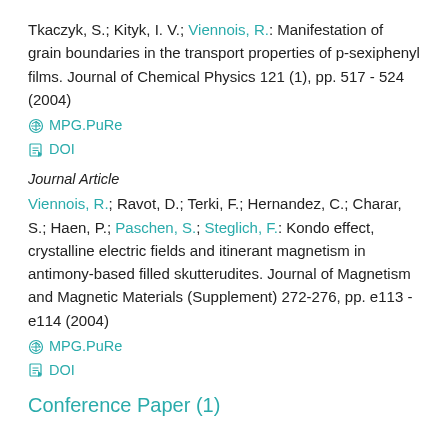Tkaczyk, S.; Kityk, I. V.; Viennois, R.: Manifestation of grain boundaries in the transport properties of p-sexiphenyl films. Journal of Chemical Physics 121 (1), pp. 517 - 524 (2004)
⊙ MPG.PuRe
🔖 DOI
Journal Article
Viennois, R.; Ravot, D.; Terki, F.; Hernandez, C.; Charar, S.; Haen, P.; Paschen, S.; Steglich, F.: Kondo effect, crystalline electric fields and itinerant magnetism in antimony-based filled skutterudites. Journal of Magnetism and Magnetic Materials (Supplement) 272-276, pp. e113 - e114 (2004)
⊙ MPG.PuRe
🔖 DOI
Conference Paper (1)